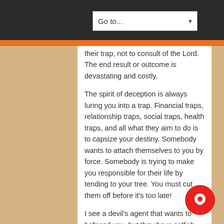Go to...
their trap, not to consult of the Lord. The end result or outcome is devastating and costly.

The spirit of deception is always luring you into a trap. Financial traps, relationship traps, social traps, health traps, and all what they aim to do is to capsize your destiny. Somebody wants to attach themselves to you by force. Somebody is trying to make you responsible for their life by tending to your tree. You must cut them off before it's too late!

I see a devil's agent that wants to befriend you, but they have selfish